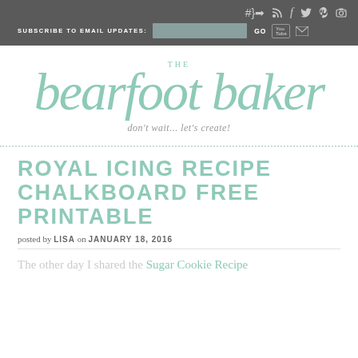SUBSCRIBE TO EMAIL UPDATES: [input] GO [YouTube] [mail] [RSS] [Facebook] [Twitter] [Pinterest] [Instagram]
[Figure (logo): The Bearfoot Baker logo in script font with tagline 'don't wait... let's create!']
ROYAL ICING RECIPE CHALKBOARD FREE PRINTABLE
posted by LISA on JANUARY 18, 2016
The other day I shared the Sugar Cookie Recipe